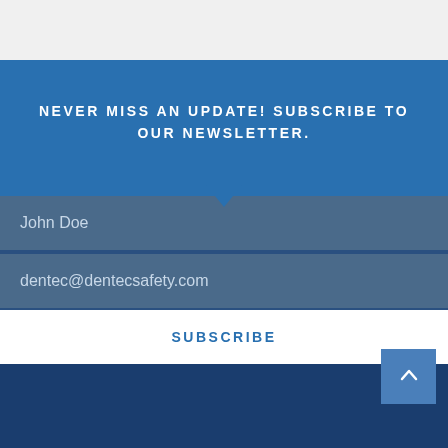NEVER MISS AN UPDATE! SUBSCRIBE TO OUR NEWSLETTER.
John Doe
dentec@dentecsafety.com
SUBSCRIBE